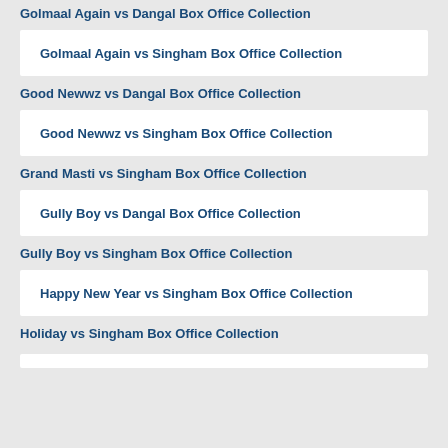Golmaal Again vs Dangal Box Office Collection
Golmaal Again vs Singham Box Office Collection
Good Newwz vs Dangal Box Office Collection
Good Newwz vs Singham Box Office Collection
Grand Masti vs Singham Box Office Collection
Gully Boy vs Dangal Box Office Collection
Gully Boy vs Singham Box Office Collection
Happy New Year vs Singham Box Office Collection
Holiday vs Singham Box Office Collection